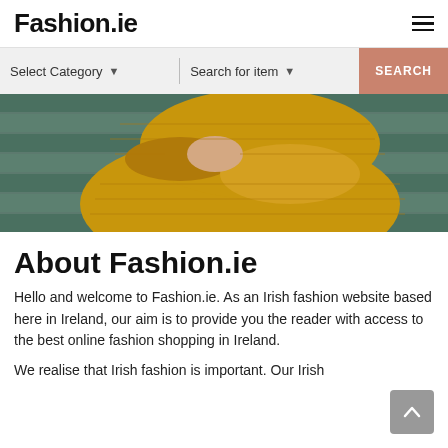Fashion.ie
[Figure (screenshot): Search bar with Select Category dropdown, Search for item dropdown, and a salmon/pink SEARCH button on a light grey background]
[Figure (photo): Close-up photo of a person wearing a mustard yellow ribbed outfit, seated with legs crossed on what appears to be painted steps or bleachers]
About Fashion.ie
Hello and welcome to Fashion.ie. As an Irish fashion website based here in Ireland, our aim is to provide you the reader with access to the best online fashion shopping in Ireland.
We realise that Irish fashion is important. Our Irish